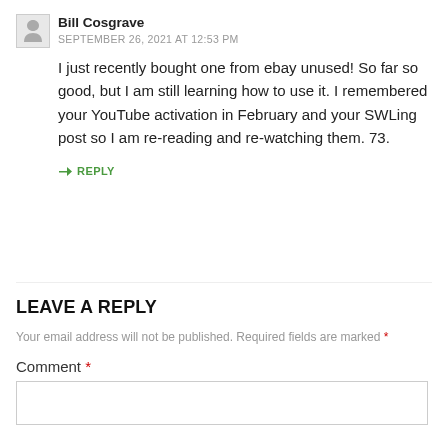Bill Cosgrave
SEPTEMBER 26, 2021 AT 12:53 PM
I just recently bought one from ebay unused! So far so good, but I am still learning how to use it. I remembered your YouTube activation in February and your SWLing post so I am re-reading and re-watching them. 73.
↪ REPLY
LEAVE A REPLY
Your email address will not be published. Required fields are marked *
Comment *